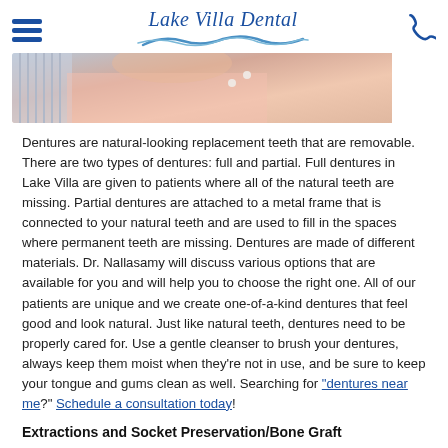Lake Villa Dental
[Figure (photo): Partial view of a person wearing a striped shirt and pink top, showing neck/shoulder area]
Dentures are natural-looking replacement teeth that are removable. There are two types of dentures: full and partial. Full dentures in Lake Villa are given to patients where all of the natural teeth are missing. Partial dentures are attached to a metal frame that is connected to your natural teeth and are used to fill in the spaces where permanent teeth are missing. Dentures are made of different materials. Dr. Nallasamy will discuss various options that are available for you and will help you to choose the right one. All of our patients are unique and we create one-of-a-kind dentures that feel good and look natural. Just like natural teeth, dentures need to be properly cared for. Use a gentle cleanser to brush your dentures, always keep them moist when they're not in use, and be sure to keep your tongue and gums clean as well. Searching for "dentures near me?" Schedule a consultation today!
Extractions and Socket Preservation/Bone Graft
There are times when it is necessary to remove a tooth...